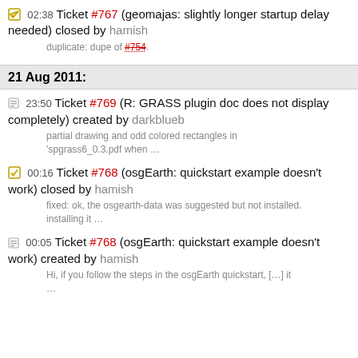02:38 Ticket #767 (geomajas: slightly longer startup delay needed) closed by hamish
duplicate: dupe of #754.
21 Aug 2011:
23:50 Ticket #769 (R: GRASS plugin doc does not display completely) created by darkblueb
partial drawing and odd colored rectangles in 'spgrass6_0.3.pdf when …
00:16 Ticket #768 (osgEarth: quickstart example doesn't work) closed by hamish
fixed: ok, the osgearth-data was suggested but not installed. installing it …
00:05 Ticket #768 (osgEarth: quickstart example doesn't work) created by hamish
Hi, if you follow the steps in the osgEarth quickstart, […] it …